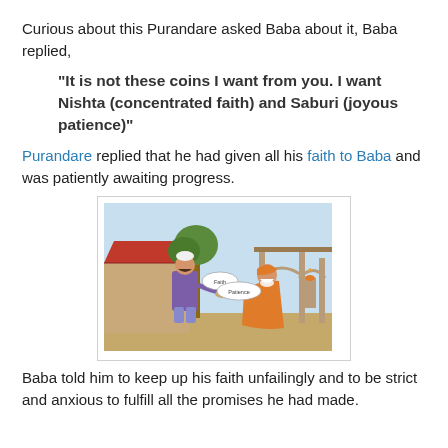Curious about this Purandare asked Baba about it, Baba replied,
"It is not these coins I want from you. I want Nishta (concentrated faith) and Saburi (joyous patience)"
Purandare replied that he had given all his faith to Baba and was patiently awaiting progress.
[Figure (illustration): Cartoon illustration of a man in purple clothing offering something to a seated sage/saint figure in orange robes, with speech bubbles saying 'Faith' and 'Patience', set against a background with a tiled-roof building and trees.]
Baba told him to keep up his faith unfailingly and to be strict and anxious to fulfill all the promises he had made.